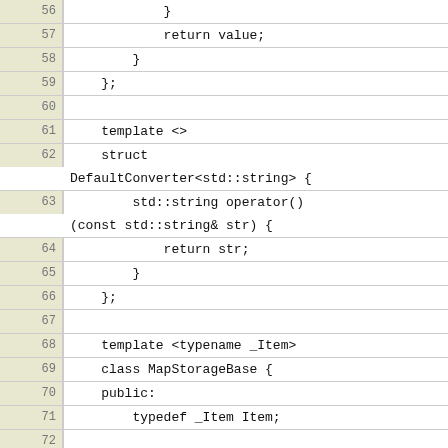[Figure (screenshot): Code editor screenshot showing C++ source code lines 56-82, with line numbers on left in beige background and code on right in white. Lines 68-75 are highlighted in yellow. Code includes template specializations, DefaultConverter struct, MapStorageBase class definition with typedef, constructors, destructor, and virtual set method.]